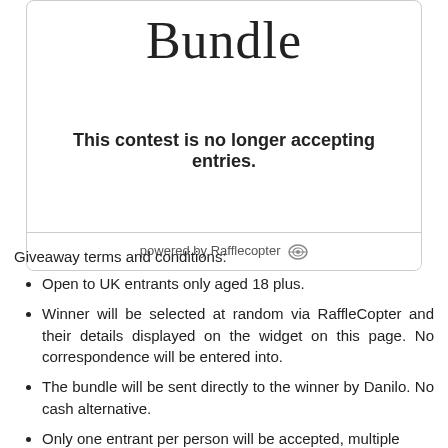Bundle
This contest is no longer accepting entries.
powered by Rafflecopter
Giveaway terms and conditions:
Open to UK entrants only aged 18 plus.
Winner will be selected at random via RaffleCopter and their details displayed on the widget on this page. No correspondence will be entered into.
The bundle will be sent directly to the winner by Danilo. No cash alternative.
Only one entrant per person will be accepted, multiple